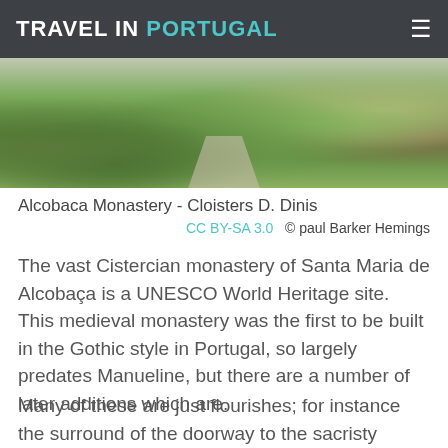TRAVEL IN PORTUGAL
[Figure (photo): Aerial/ground-level view of Alcobaca Monastery cloisters with manicured hedges, trees, and pathways]
Alcobaca Monastery - Cloisters D. Dinis
CC BY-SA 3.0  © paul Barker Hemings
The vast Cistercian monastery of Santa Maria de Alcobaça is a UNESCO World Heritage site. This medieval monastery was the first to be built in the Gothic style in Portugal, so largely predates Manueline, but there are a number of later additions which are.
Many of these are just flourishes; for instance the surround of the doorway to the sacristy which was the work of Joao de Castilho.